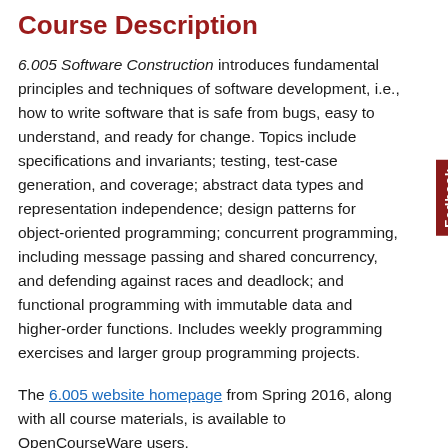Course Description
6.005 Software Construction introduces fundamental principles and techniques of software development, i.e., how to write software that is safe from bugs, easy to understand, and ready for change. Topics include specifications and invariants; testing, test-case generation, and coverage; abstract data types and representation independence; design patterns for object-oriented programming; concurrent programming, including message passing and shared concurrency, and defending against races and deadlock; and functional programming with immutable data and higher-order functions. Includes weekly programming exercises and larger group programming projects.
The 6.005 website homepage from Spring 2016, along with all course materials, is available to OpenCourseWare users.